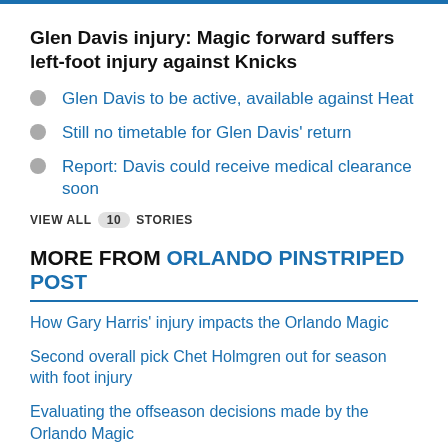Glen Davis injury: Magic forward suffers left-foot injury against Knicks
Glen Davis to be active, available against Heat
Still no timetable for Glen Davis' return
Report: Davis could receive medical clearance soon
VIEW ALL 10 STORIES
MORE FROM ORLANDO PINSTRIPED POST
How Gary Harris' injury impacts the Orlando Magic
Second overall pick Chet Holmgren out for season with foot injury
Evaluating the offseason decisions made by the Orlando Magic
Top 5 jersey numbers in Magic history